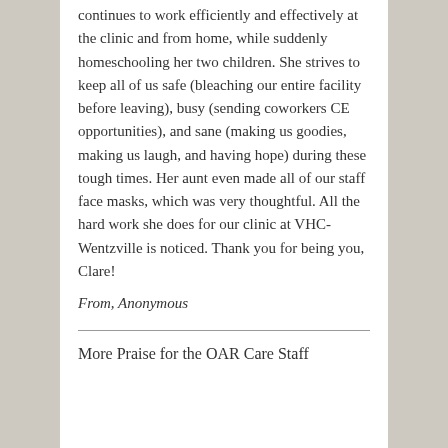continues to work efficiently and effectively at the clinic and from home, while suddenly homeschooling her two children. She strives to keep all of us safe (bleaching our entire facility before leaving), busy (sending coworkers CE opportunities), and sane (making us goodies, making us laugh, and having hope) during these tough times. Her aunt even made all of our staff face masks, which was very thoughtful. All the hard work she does for our clinic at VHC-Wentzville is noticed. Thank you for being you, Clare!
From, Anonymous
More Praise for the OAR Care Staff